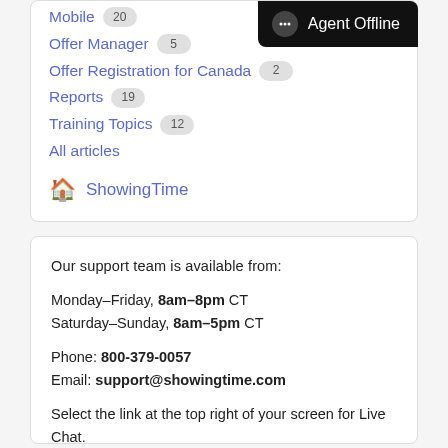Mobile 20
Offer Manager 5
Offer Registration for Canada 2
Reports 19
Training Topics 12
All articles
ShowingTime
Agent Offline
Our support team is available from:
Monday–Friday, 8am–8pm CT
Saturday–Sunday, 8am–5pm CT
Phone: 800-379-0057
Email: support@showingtime.com
Select the link at the top right of your screen for Live Chat.
Schedule appointments and view instructions on the go with the ShowingTime Mobile App.